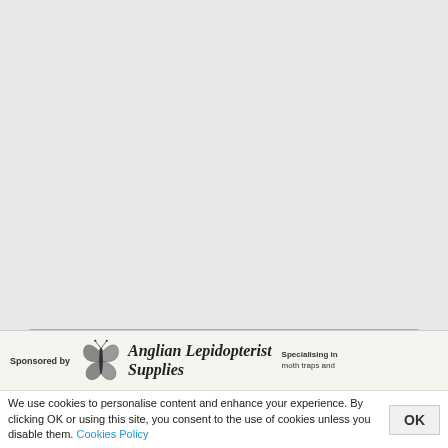[Figure (other): Large blank/empty grey area representing main page content area]
[Figure (logo): Sponsored by Anglian Lepidopterist Supplies advertisement banner with butterfly illustration. Text reads: Sponsored by | Anglian Lepidopterist Supplies | Specialising in moth traps and]
We use cookies to personalise content and enhance your experience. By clicking OK or using this site, you consent to the use of cookies unless you disable them. Cookies Policy